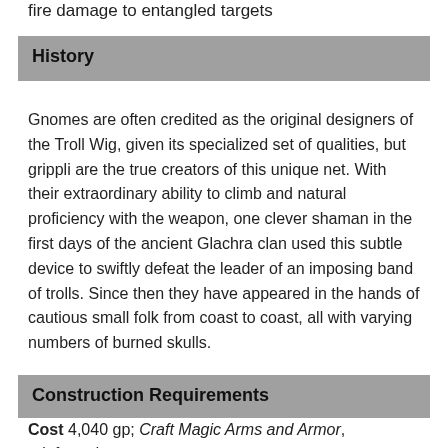fire damage to entangled targets
History
Gnomes are often credited as the original designers of the Troll Wig, given its specialized set of qualities, but grippli are the true creators of this unique net. With their extraordinary ability to climb and natural proficiency with the weapon, one clever shaman in the first days of the ancient Glachra clan used this subtle device to swiftly defeat the leader of an imposing band of trolls. Since then they have appeared in the hands of cautious small folk from coast to coast, all with varying numbers of burned skulls.
Construction Requirements
Cost 4,040 gp; Craft Magic Arms and Armor, reinforced